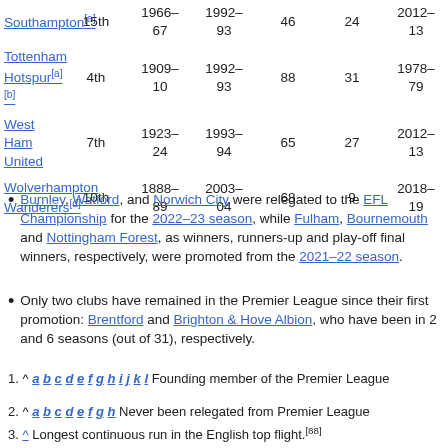| Club | Pos | Founded | First season | Seasons | Titles | Last season |
| --- | --- | --- | --- | --- | --- | --- |
| Southampton[a] | 15th | 1966–67 | 1992–93 | 46 | 24 | 2012–13 |
| Tottenham Hotspur[a][b] | 4th | 1909–10 | 1992–93 | 88 | 31 | 1978–79 |
| West Ham United | 7th | 1923–24 | 1993–94 | 65 | 27 | 2012–13 |
| Wolverhampton Wanderers[d] | 10th | 1888–89 | 2003–04 | 68 | 9 | 2018–19 |
Burnley, Watford, and Norwich City were relegated to the EFL Championship for the 2022–23 season, while Fulham, Bournemouth and Nottingham Forest, as winners, runners-up and play-off final winners, respectively, were promoted from the 2021–22 season.
Only two clubs have remained in the Premier League since their first promotion: Brentford and Brighton & Hove Albion, who have been in 2 and 6 seasons (out of 31), respectively.
1. ^ a b c d e f g h i j k l Founding member of the Premier League
2. ^ a b c d e f g h Never been relegated from Premier League
3. ^ Longest continuous run in the English top flight.[88]